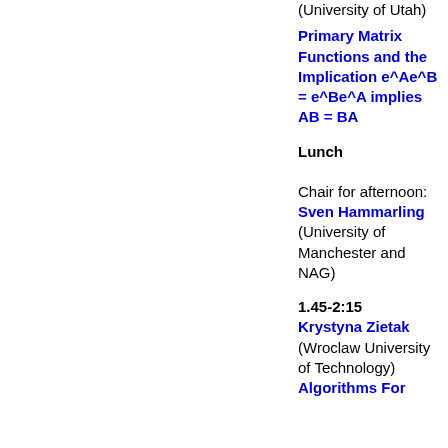(University of Utah)
Primary Matrix Functions and the Implication e^Ae^B = e^Be^A implies AB = BA
Lunch
Chair for afternoon: Sven Hammarling (University of Manchester and NAG)
1.45-2:15
Krystyna Zietak (Wroclaw University of Technology)
Algorithms For